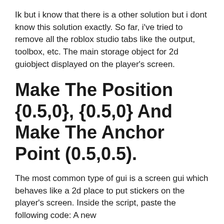Ik but i know that there is a other solution but i dont know this solution exactly. So far, i've tried to remove all the roblox studio tabs like the output, toolbox, etc. The main storage object for 2d guiobject displayed on the player's screen.
Make The Position {0.5,0}, {0.5,0} And Make The Anchor Point (0.5,0.5).
The most common type of gui is a screen gui which behaves like a 2d place to put stickers on the player's screen. Inside the script, paste the following code: A new